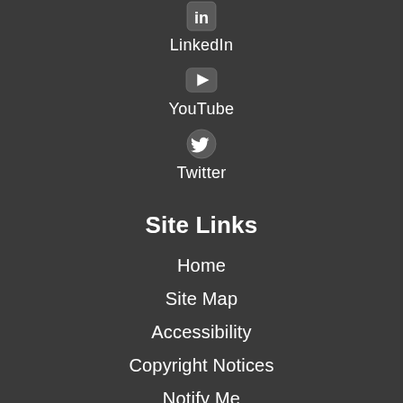[Figure (logo): LinkedIn icon - white 'in' logo in rounded square on dark background]
LinkedIn
[Figure (logo): YouTube icon - white play button triangle in rounded rectangle on dark background]
YouTube
[Figure (logo): Twitter icon - white bird logo in dark circle]
Twitter
Site Links
Home
Site Map
Accessibility
Copyright Notices
Notify Me
[Figure (illustration): White line drawing of a government building with clock tower and spires]